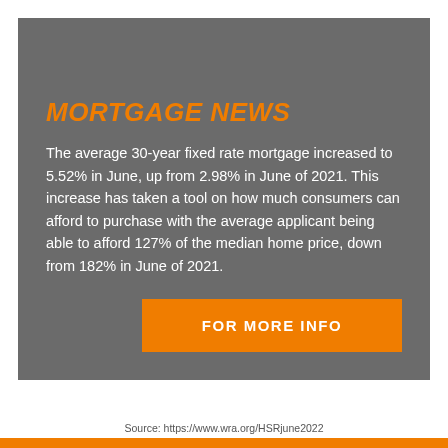MORTGAGE NEWS
The average 30-year fixed rate mortgage increased to 5.52% in June, up from 2.98% in June of 2021. This increase has taken a tool on how much consumers can afford to purchase with the average applicant being able to afford 127% of the median home price, down from 182% in June of 2021.
FOR MORE INFO
Source: https://www.wra.org/HSRjune2022